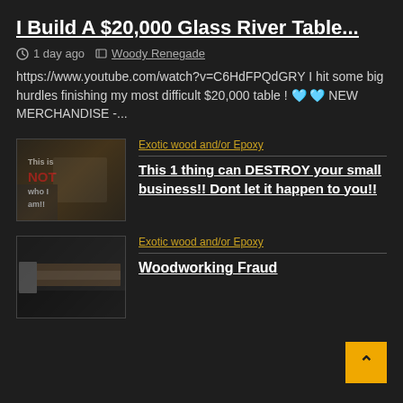I Build A $20,000 Glass River Table...
1 day ago  Woody Renegade
https://www.youtube.com/watch?v=C6HdFPQdGRY I hit some big hurdles finishing my most difficult $20,000 table ! 👕 👕 NEW MERCHANDISE -...
[Figure (screenshot): Video thumbnail showing a man with text overlay 'This is NOT who I am!!']
Exotic wood and/or Epoxy
This 1 thing can DESTROY your small business!! Dont let it happen to you!!
[Figure (screenshot): Video thumbnail showing a long wooden table being worked on]
Exotic wood and/or Epoxy
Woodworking Fraud